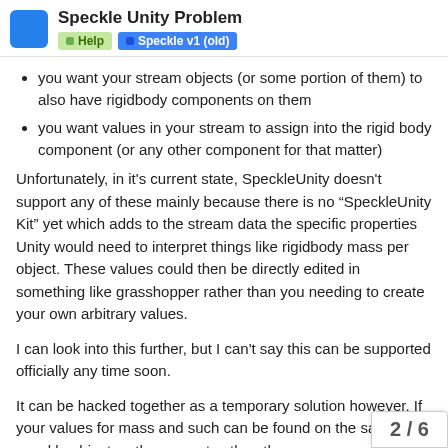Speckle Unity Problem
Help | Speckle v1 (old)
you want your stream objects (or some portion of them) to also have rigidbody components on them
you want values in your stream to assign into the rigid body component (or any other component for that matter)
Unfortunately, in it's current state, SpeckleUnity doesn't support any of these mainly because there is no “SpeckleUnity Kit” yet which adds to the stream data the specific properties Unity would need to interpret things like rigidbody mass per object. These values could then be directly edited in something like grasshopper rather than you needing to create your own arbitrary values.
I can look into this further, but I can't say this can be supported officially any time soon.
It can be hacked together as a temporary solution however. If your values for mass and such can be found on the same speckle object as the geometry, then the c… happen here:
2 / 6